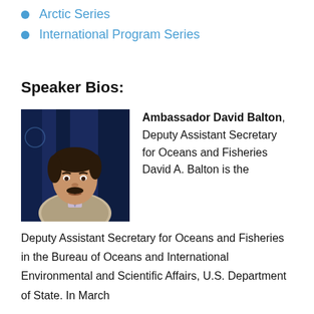Arctic Series
International Program Series
Speaker Bios:
[Figure (photo): Photo of Ambassador David Balton, a man in a suit with dark curly hair and a mustache, photographed against a dark blue background with a UN emblem visible.]
Ambassador David Balton, Deputy Assistant Secretary for Oceans and Fisheries
David A. Balton is the Deputy Assistant Secretary for Oceans and Fisheries in the Bureau of Oceans and International Environmental and Scientific Affairs, U.S. Department of State. In March